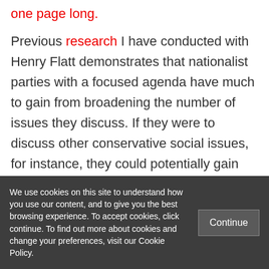one page long.
Previous research I have conducted with Henry Flatt demonstrates that nationalist parties with a focused agenda have much to gain from broadening the number of issues they discuss. If they were to discuss other conservative social issues, for instance, they could potentially gain votes from conservative parties. Alternatively, if they
We use cookies on this site to understand how you use our content, and to give you the best browsing experience. To accept cookies, click continue. To find out more about cookies and change your preferences, visit our Cookie Policy.